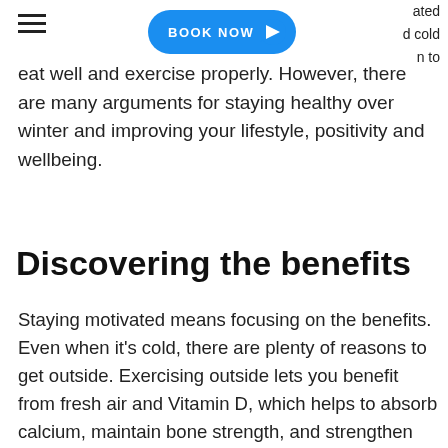ated | cold | n to
[Figure (other): Hamburger menu icon (three horizontal lines) on the left; a blue pill-shaped BOOK NOW button with a right-pointing chevron arrow in the center-top area of the page.]
eat well and exercise properly. However, there are many arguments for staying healthy over winter and improving your lifestyle, positivity and wellbeing.
Discovering the benefits
Staying motivated means focusing on the benefits. Even when it's cold, there are plenty of reasons to get outside. Exercising outside lets you benefit from fresh air and Vitamin D, which helps to absorb calcium, maintain bone strength, and strengthen the immune system.